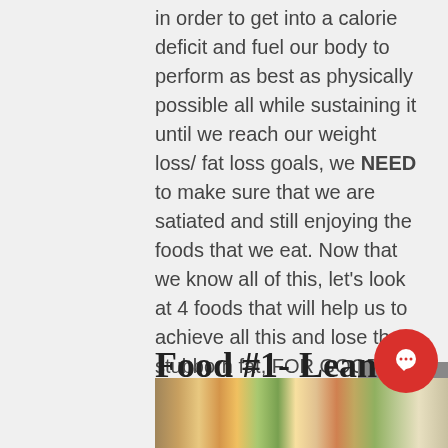in order to get into a calorie deficit and fuel our body to perform as best as physically possible all while sustaining it until we reach our weight loss/ fat loss goals, we NEED to make sure that we are satiated and still enjoying the foods that we eat. Now that we know all of this, let's look at 4 foods that will help us to achieve all this and lose that stubborn fat, FOR GOOD!
Food #1- Lean Animal Proteins
[Figure (photo): Strip of food photos showing eggs, meat, vegetables, grains and other protein foods at the bottom of the page]